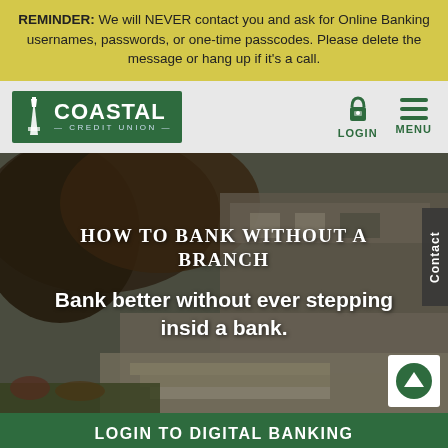REMINDER: We will NEVER contact you and ask for Online Banking usernames, passwords, or one-time passcodes. Please delete the message or hang up if it's a call.
[Figure (screenshot): Coastal Credit Union navigation bar with logo on left and LOGIN and MENU icons on right]
[Figure (photo): Hero image of a house exterior with trees and steps, overlaid with white text]
HOW TO BANK WITHOUT A BRANCH
Bank better without ever stepping inside a bank.
LOGIN TO DIGITAL BANKING